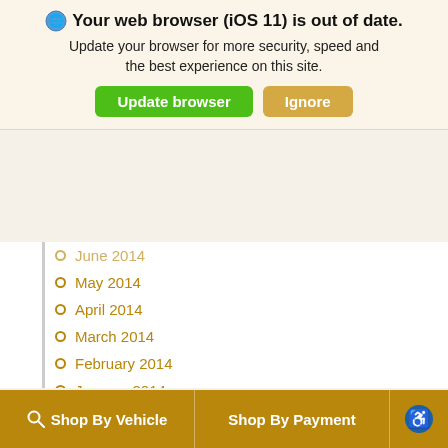Your web browser (iOS 11) is out of date. Update your browser for more security, speed and the best experience on this site.
Update browser | Ignore
June 2014 (partial)
May 2014
April 2014
March 2014
February 2014
January 2014
December 2013
November 2013
October 2013
September 2013
August 2013
July 2013
June 2013
Shop By Vehicle | Shop By Payment